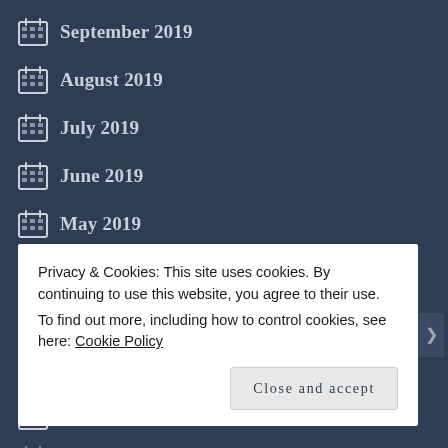September 2019
August 2019
July 2019
June 2019
May 2019
April 2019
March 2019
February 2019
January 2019
Privacy & Cookies: This site uses cookies. By continuing to use this website, you agree to their use.
To find out more, including how to control cookies, see here: Cookie Policy
Close and accept